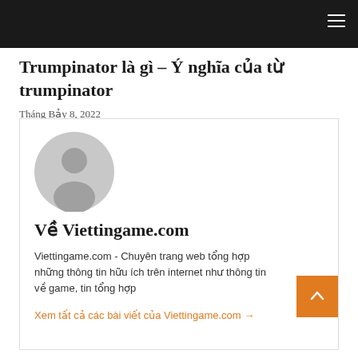Trumpinator là gì – Ý nghĩa của từ trumpinator
Tháng Bảy 8, 2022
[Figure (illustration): Generic user avatar — gray circle with silhouette of a person]
Về Viettingame.com
Viettingame.com - Chuyên trang web tổng hợp những thông tin hữu ích trên internet như thông tin về game, tin tổng hợp
Xem tất cả các bài viết của Viettingame.com →